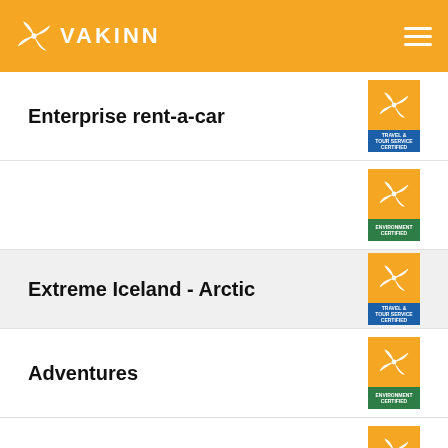VAKINN
Enterprise rent-a-car
Extreme Iceland - Arctic
Adventures
Ferðafélag Íslands